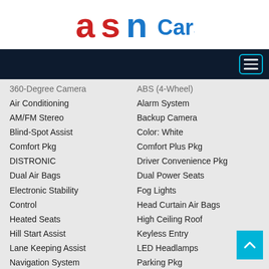[Figure (logo): ASN Cars logo with red stylized 'a' and 's' letters and blue 'n' letter followed by blue 'Cars' text]
[Figure (screenshot): Dark navy navigation bar with hamburger menu icon (three horizontal lines) inside a cyan rounded rectangle border, on the right side]
360-Degree Camera
ABS (4-Wheel)
Air Conditioning
Alarm System
AM/FM Stereo
Backup Camera
Blind-Spot Assist
Color: White
Comfort Pkg
Comfort Plus Pkg
DISTRONIC
Driver Convenience Pkg
Dual Air Bags
Dual Power Seats
Electronic Stability Control
Fog Lights
Head Curtain Air Bags
Heated Seats
High Ceiling Roof
Hill Start Assist
Keyless Entry
Lane Keeping Assist
LED Headlamps
Navigation System
Parking Pkg
Power Close Doors
Power Sliding Door
Premium Pkg
Premium Plus Pkg
Premium Wheels
Second Sliding Door
Side Air Bags
SiriusXM Satellite
Tilt Wheel
Towing Pkg